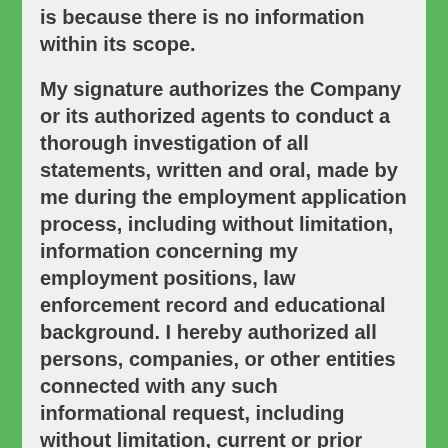is because there is no information within its scope.
My signature authorizes the Company or its authorized agents to conduct a thorough investigation of all statements, written and oral, made by me during the employment application process, including without limitation, information concerning my employment positions, law enforcement record and educational background. I hereby authorized all persons, companies, or other entities connected with any such informational request, including without limitation, current or prior employers and law enforcement agencies to provide any and all information they may have regarding me or my employment. I release and agree to indemnify the Company, its authorized agents